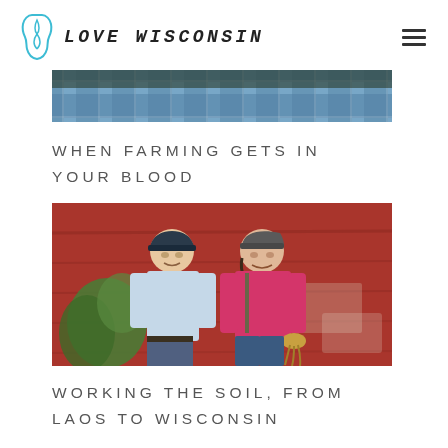LOVE WISCONSIN
[Figure (photo): Partial photo of a person in a plaid shirt, cropped at top]
WHEN FARMING GETS IN YOUR BLOOD
[Figure (photo): A man and woman smiling in front of a red barn wall; woman holds root vegetables]
WORKING THE SOIL, FROM LAOS TO WISCONSIN